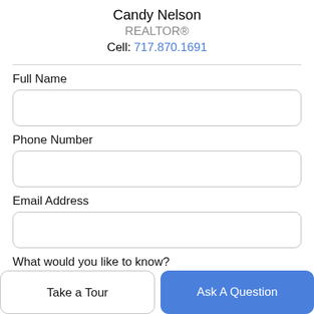Candy Nelson
REALTOR®
Cell: 717.870.1691
Full Name
Phone Number
Email Address
What would you like to know?
Take a Tour
Ask A Question